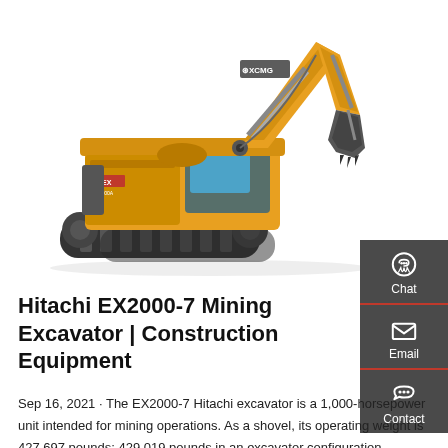[Figure (photo): Yellow XCMG crawler excavator with long boom arm and bucket, shown in profile view against white background.]
Hitachi EX2000-7 Mining Excavator | Construction Equipment
Sep 16, 2021 · The EX2000-7 Hitachi excavator is a 1,000-horsepower unit intended for mining operations. As a shovel, its operating weight is 427,697 pounds; 429,019 pounds in an excavator configuration. Maximum dig reach is 44 feet 3